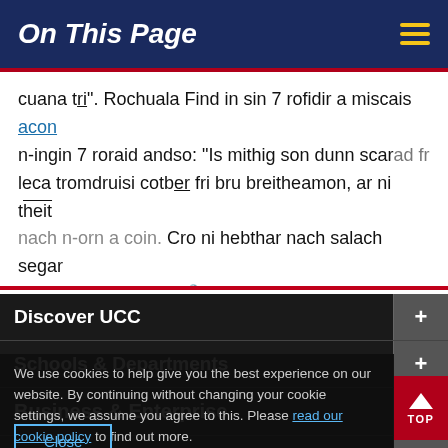On This Page
cuana tri". Rochuala Find in sin 7 rofidir a miscais acon n-ingin 7 roraid andso: “Is mithig son dunn scarad fri leca tromdruisi cotber fri bru breitheamon, ar ni theit nach n-orn a coin. Cro ni hebthar nach salach segar tria leastra lind lasar. 181b1. Mor miscais malartaig
Discover UCC
Schools & Departments
Business & Enterprise
We use cookies to help give you the best experience on our website. By continuing without changing your cookie settings, we assume you agree to this. Please read our cookie policy to find out more.
Alumni & Development
Close
Home